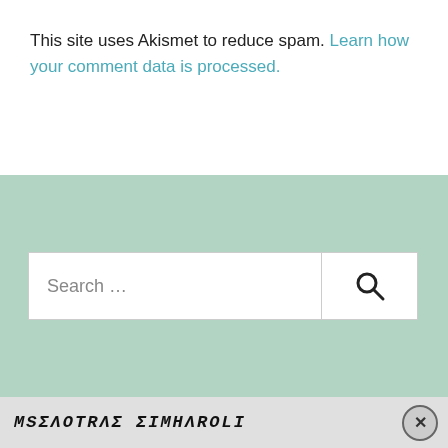This site uses Akismet to reduce spam. Learn how your comment data is processed.
[Figure (screenshot): Search bar with placeholder text 'Search ...' and a search icon button on the right, set on a mint green background]
MSΣΛOTRΛΣ ΣIMHΛROLI
[Figure (screenshot): Advertisement banner: 'Create immersive stories. GET THE APP' with WordPress logo, gradient blue-yellow background. Close button (X) top right.]
Advertisements
REPORT THIS AD